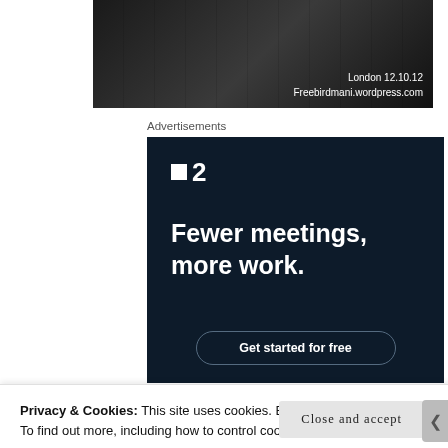[Figure (photo): Dark photograph strip with text overlay reading 'London 12.10.12' and 'Freebirdmani.wordpress.com' in white on bottom right]
London 12.10.12
Freebirdmani.wordpress.com
Advertisements
[Figure (infographic): Dark navy advertisement for a productivity app with logo showing a square dot and '2', tagline 'Fewer meetings, more work.' and a 'Get started for free' button]
Privacy & Cookies: This site uses cookies. By continuing to use this website, you agree to their use.
To find out more, including how to control cookies, see here: Cookie Policy
Close and accept